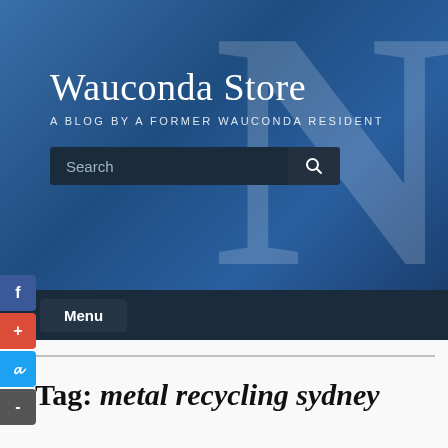[Figure (screenshot): Website header banner for 'Wauconda Store' blog with dark blue background and large faded letter N, containing title text, subtitle, and a search bar]
Wauconda Store
A BLOG BY A FORMER WAUCONDA RESIDENT
Menu
Tag: metal recycling sydney